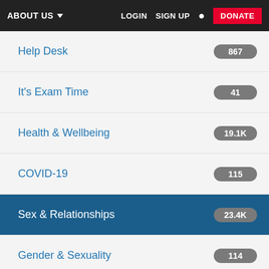ABOUT US  LOGIN  SIGN UP  DONATE
Help Desk  867
It's Exam Time  41
Health & Wellbeing  19.1K
COVID-19  115
Sex & Relationships  23.4K
Gender & Sexuality  114
Drink & Drugs  4.4K
Home, Law & Money  2.8K
Care Experienced Zone  24
Work & Volunteering  2.9K
Student Life & Education  3.5K